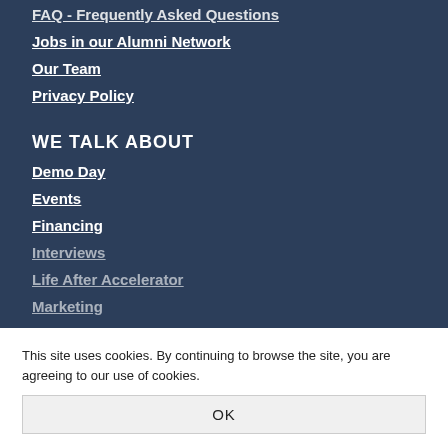FAQ - Frequently Asked Questions
Jobs in our Alumni Network
Our Team
Privacy Policy
WE TALK ABOUT
Demo Day
Events
Financing
Interviews
Life After Accelerator
Marketing
Personal
Philosophy
This site uses cookies. By continuing to browse the site, you are agreeing to our use of cookies.
OK